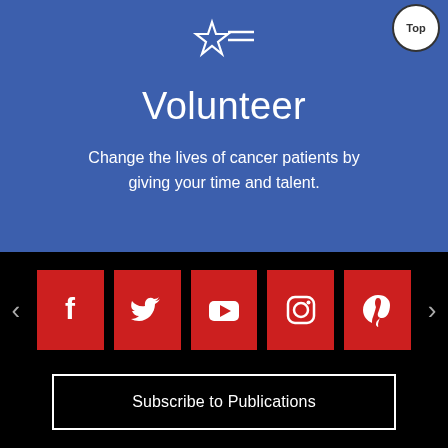[Figure (logo): Star and lines logo icon in white on blue background]
Volunteer
Change the lives of cancer patients by giving your time and talent.
[Figure (infographic): Social media icons row: Facebook, Twitter, YouTube, Instagram, Pinterest — all white icons on red square backgrounds, with left and right carousel arrows]
Subscribe to Publications